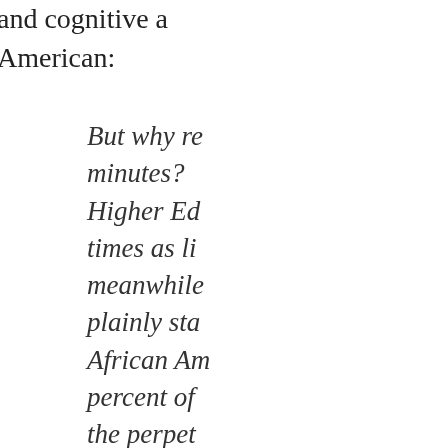and cognitive a American:
But why re minutes? Higher Ed times as li meanwhile plainly sta African Am percent of the perpet dots are t
The presumptio simple, which is understanding o
So I have as White?